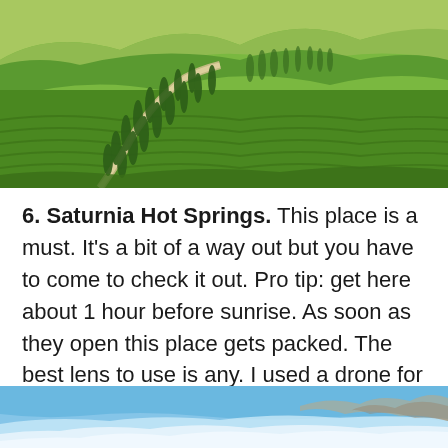[Figure (photo): Aerial/landscape view of Tuscan countryside with cypress tree-lined winding road through green rolling hills and vineyards]
6. Saturnia Hot Springs. This place is a must. It's a bit of a way out but you have to come to check it out. Pro tip: get here about 1 hour before sunrise. As soon as they open this place gets packed. The best lens to use is any. I used a drone for this one.
[Figure (photo): Aerial view of Saturnia Hot Springs showing blue water with white mineral formations and rocky terrain]